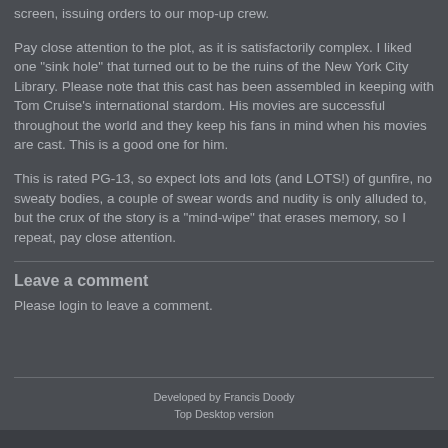screen, issuing orders to our mop-up crew.
Pay close attention to the plot, as it is satisfactorily complex. I liked one "sink hole" that turned out to be the ruins of the New York City Library. Please note that this cast has been assembled in keeping with Tom Cruise's international stardom. His movies are successful throughout the world and they keep his fans in mind when his movies are cast. This is a good one for him.
This is rated PG-13, so expect lots and lots (and LOTS!) of gunfire, no sweaty bodies, a couple of swear words and nudity is only alluded to, but the crux of the story is a "mind-wipe" that erases memory, so I repeat, pay close attention.
Leave a comment
Please login to leave a comment.
Developed by Francis Doody
Top Desktop version